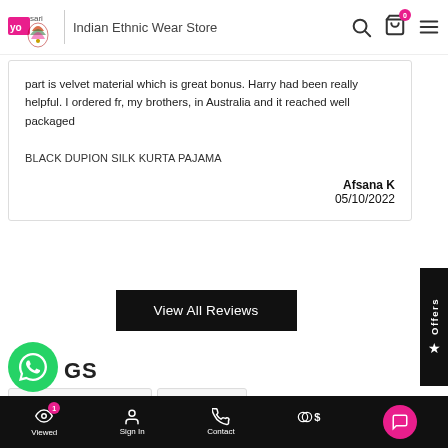Yo Sari – Indian Ethnic Wear Store
part is velvet material which is great bonus. Harry had been really helpful. I ordered fr, my brothers, in Australia and it reached well packaged
BLACK DUPION SILK KURTA PAJAMA
Afsana K
05/10/2022
View All Reviews
GS
Buy Indian Dresses Online
Indian Clothing
Viewed | Sign In | Contact | Currency | Chat